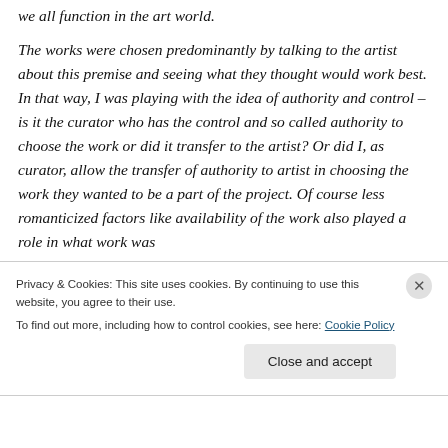we all function in the art world.
The works were chosen predominantly by talking to the artist about this premise and seeing what they thought would work best. In that way, I was playing with the idea of authority and control – is it the curator who has the control and so called authority to choose the work or did it transfer to the artist? Or did I, as curator, allow the transfer of authority to artist in choosing the work they wanted to be a part of the project. Of course less romanticized factors like availability of the work also played a role in what work was
Privacy & Cookies: This site uses cookies. By continuing to use this website, you agree to their use.
To find out more, including how to control cookies, see here: Cookie Policy
Close and accept